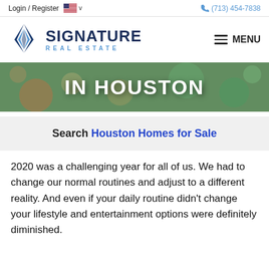Login / Register  🇺🇸 ∨   (713) 454-7838
[Figure (logo): Signature Real Estate logo with blue diamond icon and company name]
[Figure (photo): Hero banner image with bokeh background and text IN HOUSTON in large white bold letters]
Search Houston Homes for Sale
2020 was a challenging year for all of us. We had to change our normal routines and adjust to a different reality. And even if your daily routine didn't change  your lifestyle and entertainment options were definitely diminished.